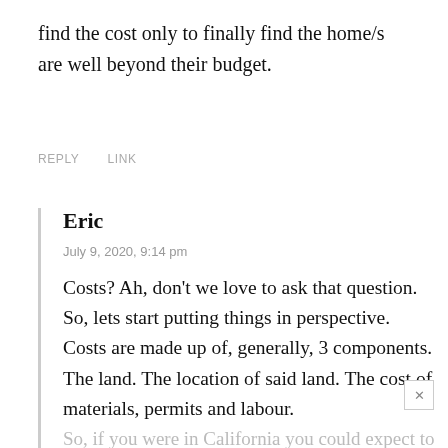find the cost only to finally find the home/s are well beyond their budget.
REPLY    LINK
Eric
July 9, 2020, 9:14 pm
Costs? Ah, don’t we love to ask that question. So, lets start putting things in perspective. Costs are made up of, generally, 3 components. The land. The location of said land. The cost of materials, permits and labour.
So, if you were in California you could expect to pay extraordinary costs compared to say, South Carolina,